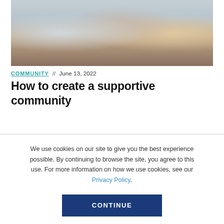[Figure (photo): Group of young people smiling and talking together, one wearing a blue denim shirt, others in casual clothes, warm indoor setting]
COMMUNITY // June 13, 2022
How to create a supportive community
We use cookies on our site to give you the best experience possible. By continuing to browse the site, you agree to this use. For more information on how we use cookies, see our Privacy Policy.
CONTINUE